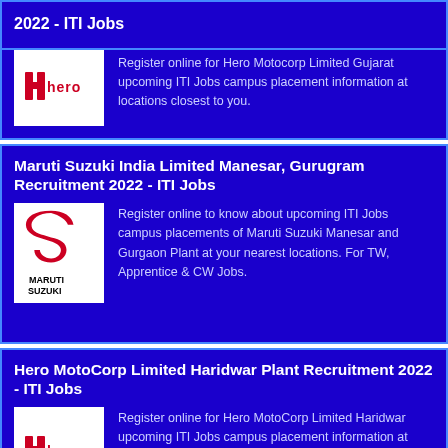2022 - ITI Jobs
[Figure (logo): Hero Motocorp logo - red stylized H with 'hero' text in red]
Register online for Hero Motocorp Limited Gujarat upcoming ITI Jobs campus placement information at locations closest to you.
Maruti Suzuki India Limited Manesar, Gurugram Recruitment 2022 - ITI Jobs
[Figure (logo): Maruti Suzuki logo - red S symbol with MARUTI SUZUKI text below]
Register online to know about upcoming ITI Jobs campus placements of Maruti Suzuki Manesar and Gurgaon Plant at your nearest locations. For TW, Apprentice & CW Jobs.
Hero MotoCorp Limited Haridwar Plant Recruitment 2022 - ITI Jobs
[Figure (logo): Hero logo - red stylized H with 'hero' text in red]
Register online for Hero MotoCorp Limited Haridwar upcoming ITI Jobs campus placement information at locations closest to you.